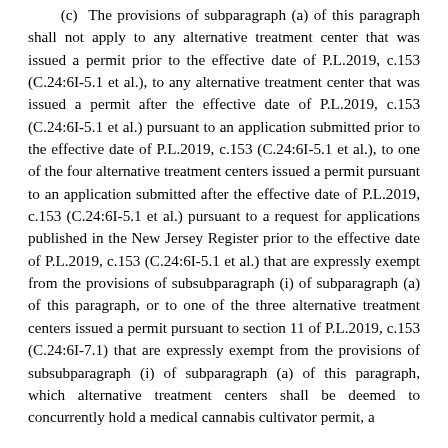(c) The provisions of subparagraph (a) of this paragraph shall not apply to any alternative treatment center that was issued a permit prior to the effective date of P.L.2019, c.153 (C.24:6I-5.1 et al.), to any alternative treatment center that was issued a permit after the effective date of P.L.2019, c.153 (C.24:6I-5.1 et al.) pursuant to an application submitted prior to the effective date of P.L.2019, c.153 (C.24:6I-5.1 et al.), to one of the four alternative treatment centers issued a permit pursuant to an application submitted after the effective date of P.L.2019, c.153 (C.24:6I-5.1 et al.) pursuant to a request for applications published in the New Jersey Register prior to the effective date of P.L.2019, c.153 (C.24:6I-5.1 et al.) that are expressly exempt from the provisions of subsubparagraph (i) of subparagraph (a) of this paragraph, or to one of the three alternative treatment centers issued a permit pursuant to section 11 of P.L.2019, c.153 (C.24:6I-7.1) that are expressly exempt from the provisions of subsubparagraph (i) of subparagraph (a) of this paragraph, which alternative treatment centers shall be deemed to concurrently hold a medical cannabis cultivator permit, a